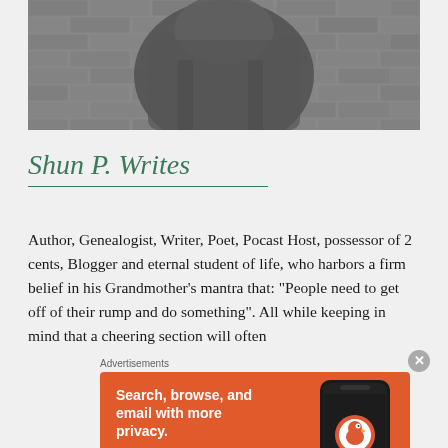[Figure (photo): Black and white photo of a person in a jacket standing against a brick wall, cropped to show torso area]
Shun P. Writes
Author, Genealogist, Writer, Poet, Pocast Host, possessor of 2 cents, Blogger and eternal student of life, who harbors a firm belief in his Grandmother's mantra that: "People need to get off of their rump and do something". All while keeping in mind that a cheering section will often
Advertisements
[Figure (screenshot): DuckDuckGo advertisement on orange background. Text: 'Search, browse, and email with more privacy. All in One Free App'. Shows a phone with DuckDuckGo logo and text 'DuckDuckGo.']